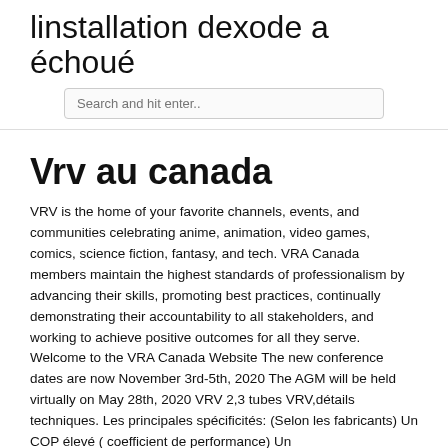linstallation dexode a échoué
Search and hit enter..
Vrv au canada
VRV is the home of your favorite channels, events, and communities celebrating anime, animation, video games, comics, science fiction, fantasy, and tech. VRA Canada members maintain the highest standards of professionalism by advancing their skills, promoting best practices, continually demonstrating their accountability to all stakeholders, and working to achieve positive outcomes for all they serve. Welcome to the VRA Canada Website The new conference dates are now November 3rd-5th, 2020 The AGM will be held virtually on May 28th, 2020 VRV 2,3 tubes VRV,détails techniques. Les principales spécificités: (Selon les fabricants) Un COP élevé ( coefficient de performance) Un